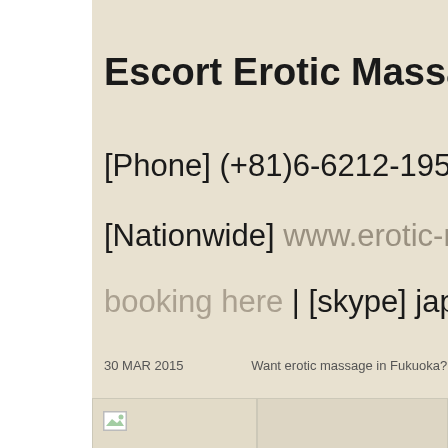Escort Erotic Massage Club
[Phone] (+81)6-6212-1950 | [...]
[Nationwide] www.erotic-mas...
booking here | [skype] japane...
30 MAR 2015    Want erotic massage in Fukuoka?
[Figure (photo): Two image placeholders side by side with tan/beige background, left one shows a broken image icon]